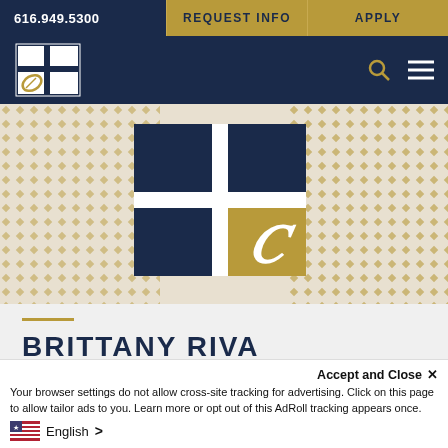616.949.5300 | REQUEST INFO | APPLY
[Figure (logo): Cornerstone University logo — white window-pane square with stylized leaf, on dark navy background, plus search icon and hamburger menu]
[Figure (illustration): Hero banner showing large Cornerstone University logo (navy and gold window-pane design) on cream background with gold dot pattern]
BRITTANY RIVA
PROGRAM DIRECTOR
Your browser settings do not allow cross-site tracking for advertising. Click on this page to allow tailor ads to you. Learn more or opt out of this AdRoll tracking appears once.
Accept and Close ✕
English >